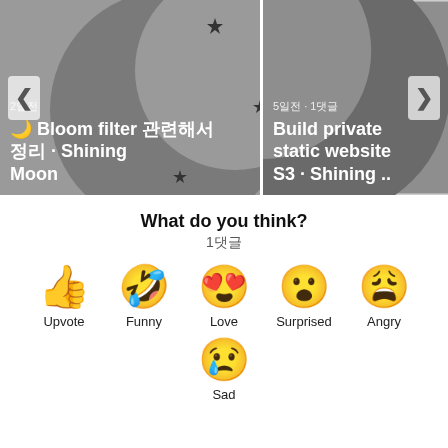[Figure (screenshot): Carousel with two cards: left card shows 'Bloom filter 관련해서 정리 · Shining Moon' with meta '2일전', right card shows 'Build private static website S3 · Shining ..' with meta '5일전 · 1댓글'. Navigation arrows on sides.]
What do you think?
1댓글
[Figure (infographic): Reaction emoji row: Upvote (thumbs up), Funny (squinting grinning face), Love (heart-eyes), Surprised (wide-eyed), Angry (crying weary face). Second row: Sad (crying face).]